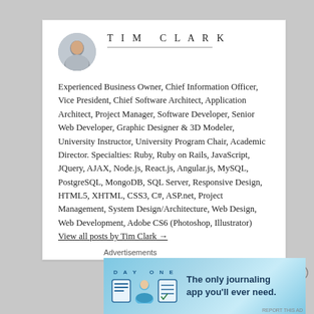TIM CLARK
Experienced Business Owner, Chief Information Officer, Vice President, Chief Software Architect, Application Architect, Project Manager, Software Developer, Senior Web Developer, Graphic Designer & 3D Modeler, University Instructor, University Program Chair, Academic Director. Specialties: Ruby, Ruby on Rails, JavaScript, JQuery, AJAX, Node.js, React.js, Angular.js, MySQL, PostgreSQL, MongoDB, SQL Server, Responsive Design, HTML5, XHTML, CSS3, C#, ASP.net, Project Management, System Design/Architecture, Web Design, Web Development, Adobe CS6 (Photoshop, Illustrator) View all posts by Tim Clark →
Advertisements
[Figure (photo): DAY ONE journaling app advertisement banner with icons and text 'The only journaling app you'll ever need.']